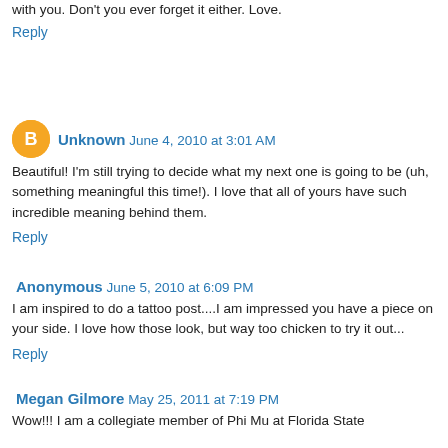with you. Don't you ever forget it either. Love.
Reply
Unknown  June 4, 2010 at 3:01 AM
Beautiful! I'm still trying to decide what my next one is going to be (uh, something meaningful this time!). I love that all of yours have such incredible meaning behind them.
Reply
Anonymous  June 5, 2010 at 6:09 PM
I am inspired to do a tattoo post....I am impressed you have a piece on your side. I love how those look, but way too chicken to try it out...
Reply
Megan Gilmore  May 25, 2011 at 7:19 PM
Wow!!! I am a collegiate member of Phi Mu at Florida State